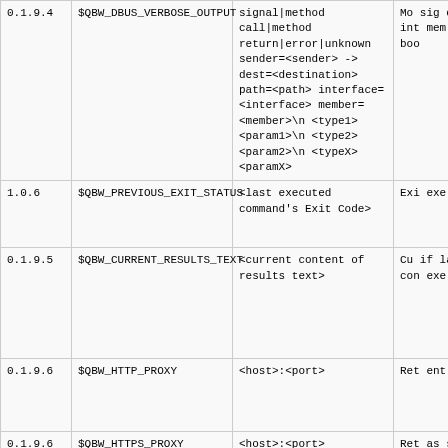| 0.1.9.4 | $QBW_DBUS_VERBOSE_OUTPUT | signal|method call|method return|error|unknown sender=<sender> -> dest=<destination> path=<path> interface=<interface> member=<member>\n <type1> <param1>\n <type2> <param2>\n <typeX> <paramX> | Mo sig des pat int mem str boo |
| 1.0.6 | $QBW_PREVIOUS_EXIT_STATUS | <last executed command's Exit Code> | Exi exe |
| 0.1.9.5 | $QBW_CURRENT_RESULTS_TEXT | <current content of results text> | Cu if la and con exe |
| 0.1.9.6 | $QBW_HTTP_PROXY | <host>:<port> | Ret ent acti |
| 0.1.9.6 | $QBW_HTTPS_PROXY | <host>:<port> | Ret as s acti |
| 0.1.9.6 | $QBW_FTP_PROXY | <host>:<port> | Ret set acti |
| 0.1.9.6 | $QBW_SOCKS_PROXY | <host>:<port> | Ret |